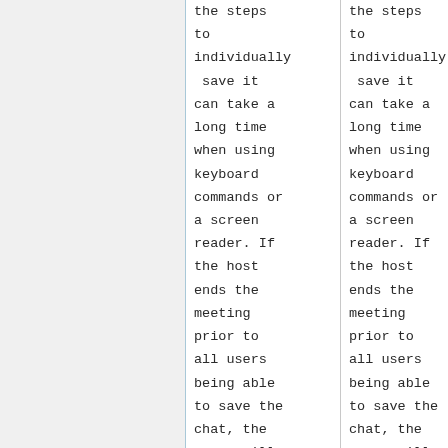the steps
to
individually
 save it
can take a
long time
when using
keyboard
commands or
a screen
reader. If
the host
ends the
meeting
prior to
all users
being able
to save the
chat, the
users will
no longer
be able to
the steps
to
individually
 save it
can take a
long time
when using
keyboard
commands or
a screen
reader. If
the host
ends the
meeting
prior to
all users
being able
to save the
chat, the
users will
no longer
be able to